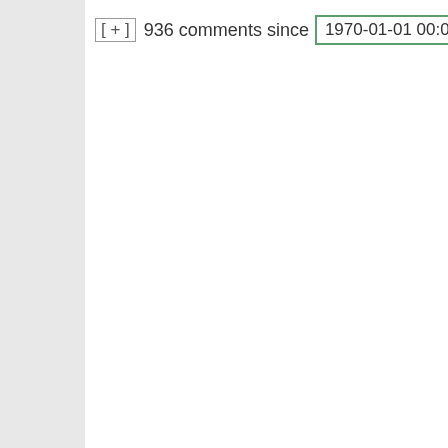[ + ] 936 comments since 1970-01-01 00:0
mentioned, diverg... pressure. Sufficie deadly environme would cause rapid changes in any su populations – con prevalence of Bla Plague immunity western Europea this day, there are where bearers of mutation that imm them are like 80% population, where unaffected region Europe, it's appro 0%. (Overall, abo of modern day Eu